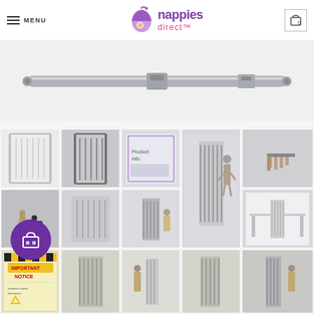MENU | nappies direct™ | Cart: 0
[Figure (photo): Main product image showing a metal baby/pet safety gate extension bar, silver/grey color, horizontal orientation]
[Figure (photo): Grid of product thumbnail images showing a baby safety gate in various configurations and settings. Includes images of the white gate alone, dark gate alone, product packaging, gate installed in doorway with adult, close-up of gate latch, a person holding a child near the gate, installation diagram, gate in dark room, gate installed in room with adult, gate table/room scene, important notice label, another installation image, person with child at gate, and a room installation image. A purple circular icon with a bag/gift symbol overlays the lower-left area.]